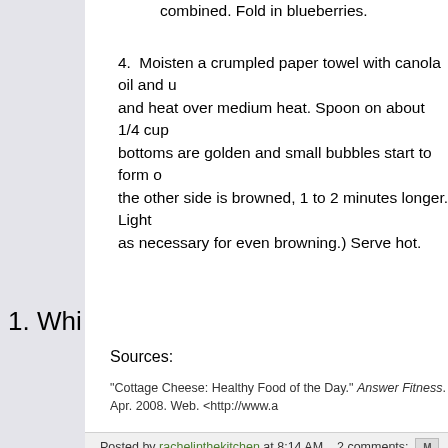3. Make a well in the dry ingredients, add wet ingredients combined. Fold in blueberries.
4. Moisten a crumpled paper towel with canola oil and heat over medium heat. Spoon on about 1/4 cup bottoms are golden and small bubbles start to form on the other side is browned, 1 to 2 minutes longer. Lightly as necessary for even browning.) Serve hot.
1. Whi
Sources:
"Cottage Cheese: Healthy Food of the Day." Answer Fitness. Apr. 2008. Web. <http://www.a
Posted by rachelinthekitchen at 8:14 AM   2 comments:   [M]
Labels: Breakfast, Summer
Sunday, January 8, 2012
Grilled-Cheese Perfect Tomato Soup